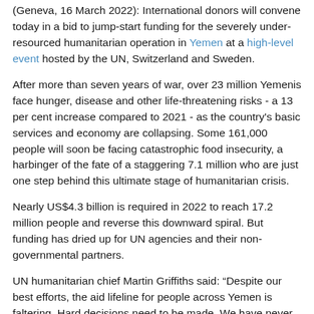(Geneva, 16 March 2022): International donors will convene today in a bid to jump-start funding for the severely under-resourced humanitarian operation in Yemen at a high-level event hosted by the UN, Switzerland and Sweden.
After more than seven years of war, over 23 million Yemenis face hunger, disease and other life-threatening risks - a 13 per cent increase compared to 2021 - as the country's basic services and economy are collapsing. Some 161,000 people will soon be facing catastrophic food insecurity, a harbinger of the fate of a staggering 7.1 million who are just one step behind this ultimate stage of humanitarian crisis.
Nearly US$4.3 billion is required in 2022 to reach 17.2 million people and reverse this downward spiral. But funding has dried up for UN agencies and their non-governmental partners.
UN humanitarian chief Martin Griffiths said: “Despite our best efforts, the aid lifeline for people across Yemen is faltering. Hard decisions need to be made. We have never in the past contemplated giving millions of hungry people no food at all, or to cut away life-saving services for infants or pregnant women. I fear